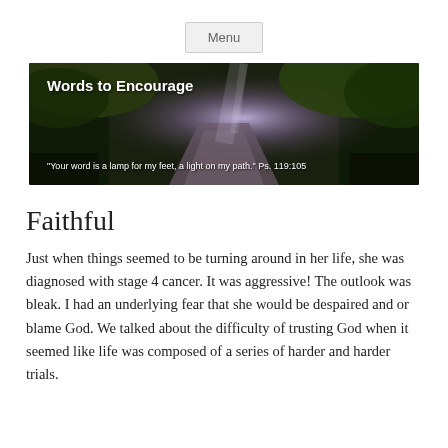Menu
[Figure (photo): Banner image of a sunlit forest path with text 'Words to Encourage' and quote '"Your word is a lamp for my feet, a light on my path." Ps. 119:105']
Faithful
Just when things seemed to be turning around in her life, she was diagnosed with stage 4 cancer. It was aggressive! The outlook was bleak. I had an underlying fear that she would be despaired and or blame God. We talked about the difficulty of trusting God when it seemed like life was composed of a series of harder and harder trials.